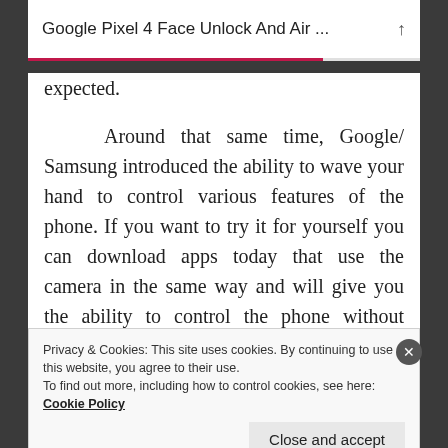Google Pixel 4 Face Unlock And Air ...
expected.
Around that same time, Google/ Samsung introduced the ability to wave your hand to control various features of the phone. If you want to try it for yourself you can download apps today that use the camera in the same way and will give you the ability to control the phone without touching it. This again is not a new feature, so I'll
Privacy & Cookies: This site uses cookies. By continuing to use this website, you agree to their use.
To find out more, including how to control cookies, see here: Cookie Policy
Close and accept